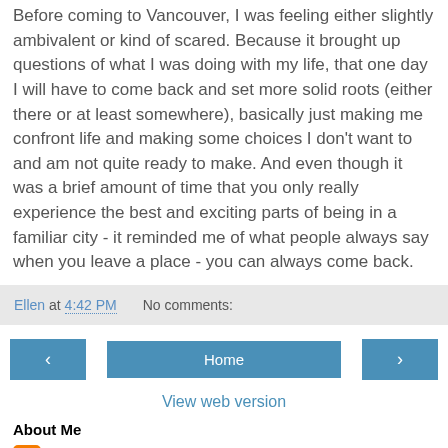Before coming to Vancouver, I was feeling either slightly ambivalent or kind of scared. Because it brought up questions of what I was doing with my life, that one day I will have to come back and set more solid roots (either there or at least somewhere), basically just making me confront life and making some choices I don't want to and am not quite ready to make. And even though it was a brief amount of time that you only really experience the best and exciting parts of being in a familiar city - it reminded me of what people always say when you leave a place - you can always come back.
Ellen at 4:42 PM    No comments:
‹    Home    ›
View web version
About Me
Ellen